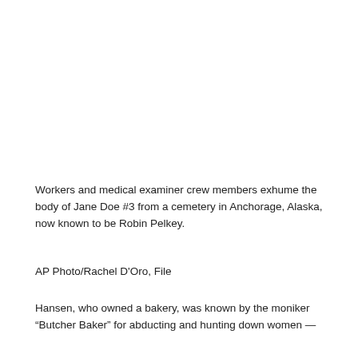[Figure (photo): Blank white image area representing a photo of workers and medical examiner crew members exhuming a body from a cemetery in Anchorage, Alaska]
Workers and medical examiner crew members exhume the body of Jane Doe #3 from a cemetery in Anchorage, Alaska, now known to be Robin Pelkey.
AP Photo/Rachel D'Oro, File
Hansen, who owned a bakery, was known by the moniker “Butcher Baker” for abducting and hunting down women —